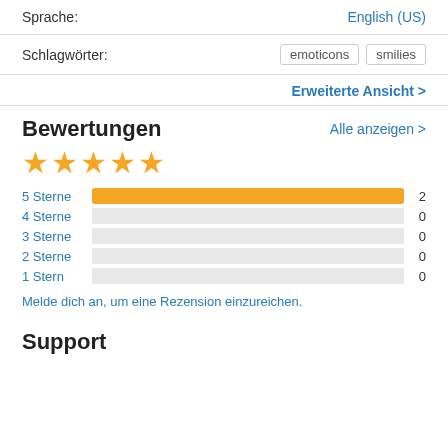Sprache: English (US)
Schlagwörter: emoticons smilies
Erweiterte Ansicht
Bewertungen
Alle anzeigen >
[Figure (other): 5 yellow filled stars rating]
[Figure (bar-chart): Star ratings breakdown]
Melde dich an, um eine Rezension einzureichen.
Support